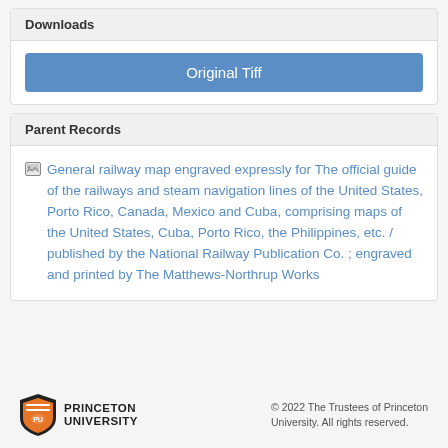Downloads
Original Tiff
Parent Records
General railway map engraved expressly for The official guide of the railways and steam navigation lines of the United States, Porto Rico, Canada, Mexico and Cuba, comprising maps of the United States, Cuba, Porto Rico, the Philippines, etc. / published by the National Railway Publication Co. ; engraved and printed by The Matthews-Northrup Works
PRINCETON UNIVERSITY © 2022 The Trustees of Princeton University. All rights reserved.